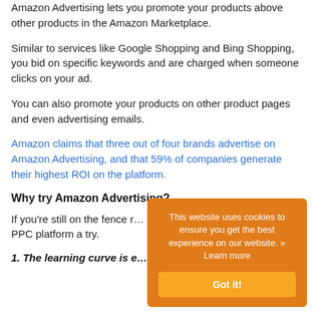Amazon Advertising lets you promote your products above other products in the Amazon Marketplace.
Similar to services like Google Shopping and Bing Shopping, you bid on specific keywords and are charged when someone clicks on your ad.
You can also promote your products on other product pages and even advertising emails.
Amazon claims that three out of four brands advertise on Amazon Advertising, and that 59% of companies generate their highest ROI on the platform.
Why try Amazon Advertising?
If you're still on the fence regarding the Amazon Marketplace, here are five reasons you should give this PPC platform a try.
1. The learning curve is e…
This website uses cookies to ensure you get the best experience on our website. » Learn more
Got it!